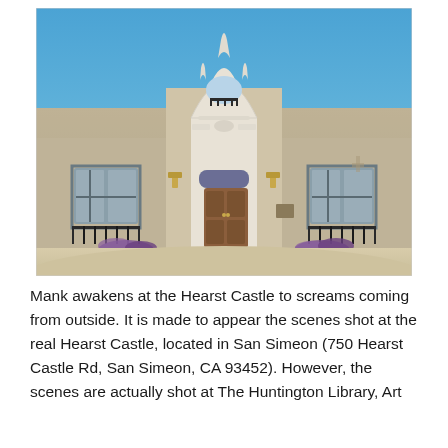[Figure (photo): Exterior photograph of a Spanish Colonial Revival style building with ornate white carved stone facade and entrance portal, arched windows with black iron railings, large wooden doors, purple flowering plants at the base, blue sky background — the Hearst Castle or similar historic estate building in San Simeon, California.]
Mank awakens at the Hearst Castle to screams coming from outside. It is made to appear the scenes shot at the real Hearst Castle, located in San Simeon (750 Hearst Castle Rd, San Simeon, CA 93452). However, the scenes are actually shot at The Huntington Library, Art...